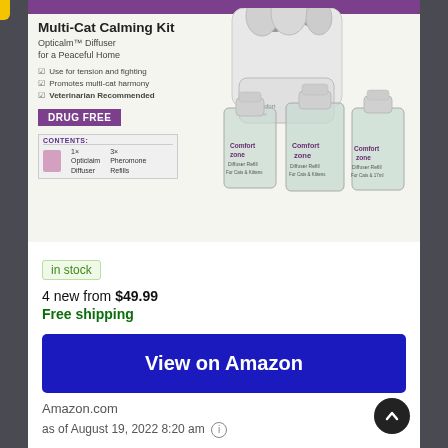[Figure (photo): Comfort Zone Multi-Cat Calming Kit product image showing white diffuser device with multiple refill bottles labeled 'Comfort zone Diffuser Refill']
Multi-Cat Calming Kit
Opticalm™ Diffuser for a Peaceful Home
Use for tension and fighting
Promotes multi-cat harmony
Veterinarian Recommended
DRUG FREE
CONTENTS:
in stock
4 new from $49.99
Free shipping
View on Amazon
Amazon.com
as of August 19, 2022 8:20 am